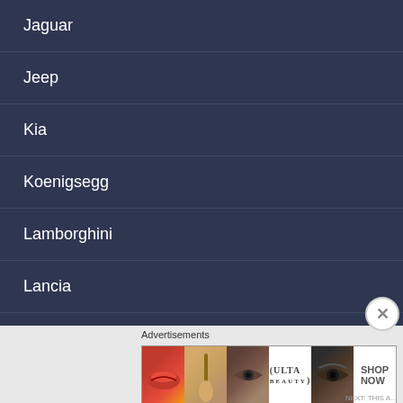Jaguar
Jeep
Kia
Koenigsegg
Lamborghini
Lancia
Lexus
Lincoln
Lotus
Maserati
Advertisements
[Figure (photo): Ulta Beauty advertisement banner showing makeup images including lips, brush, eyes, Ulta logo, and SHOP NOW text]